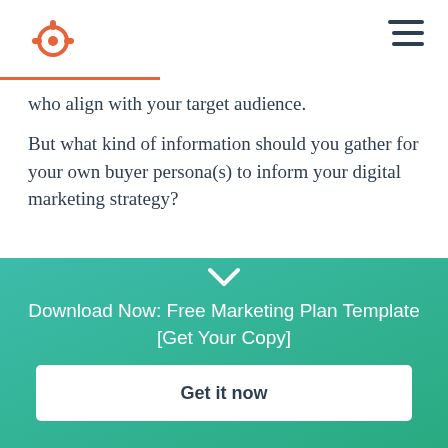HubSpot logo and navigation
who align with your target audience.
But what kind of information should you gather for your own buyer persona(s) to inform your digital marketing strategy?
That depends on your business — it's likely to vary depending on whether you're B2B or B2C, or whether
[Figure (infographic): Teal to green gradient CTA banner with chevron arrow, headline 'Download Now: Free Marketing Plan Template [Get Your Copy]', and white 'Get it now' button]